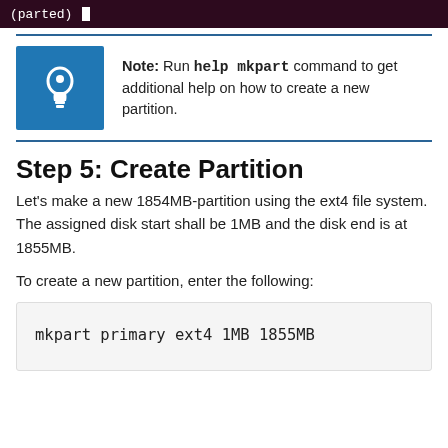[Figure (screenshot): Terminal prompt showing '(parted)' command with cursor, dark maroon background]
Note: Run help mkpart command to get additional help on how to create a new partition.
Step 5: Create Partition
Let's make a new 1854MB-partition using the ext4 file system. The assigned disk start shall be 1MB and the disk end is at 1855MB.
To create a new partition, enter the following:
mkpart primary ext4 1MB 1855MB